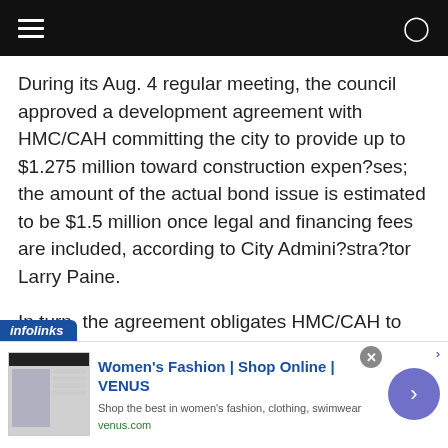Navigation bar with hamburger menu and search icon
During its Aug. 4 regular meeting, the council approved a development agreement with HMC/CAH committing the city to provide up to $1.275 million toward construction expen­ses; the amount of the actual bond issue is estimated to be $1.5 million once legal and financing fees are included, according to City Admini­stra­tor Larry Paine.
In turn, the agreement obligates HMC/CAH to repay the bond over the 23-year life of its USDA construction loan through the Bank of Hays.
[Figure (screenshot): Infolinks ad banner for Women's Fashion | Shop Online | VENUS with tagline 'Shop the best in women's fashion, clothing, swimwear' and url venus.com]